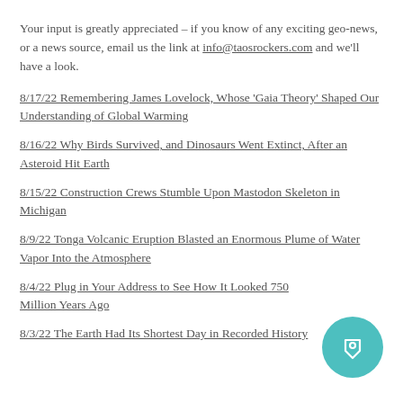Your input is greatly appreciated – if you know of any exciting geo-news, or a news source, email us the link at info@taosrockers.com and we'll have a look.
8/17/22 Remembering James Lovelock, Whose 'Gaia Theory' Shaped Our Understanding of Global Warming
8/16/22 Why Birds Survived, and Dinosaurs Went Extinct, After an Asteroid Hit Earth
8/15/22 Construction Crews Stumble Upon Mastodon Skeleton in Michigan
8/9/22 Tonga Volcanic Eruption Blasted an Enormous Plume of Water Vapor Into the Atmosphere
8/4/22 Plug in Your Address to See How It Looked 750 Million Years Ago
8/3/22 The Earth Had Its Shortest Day in Recorded History